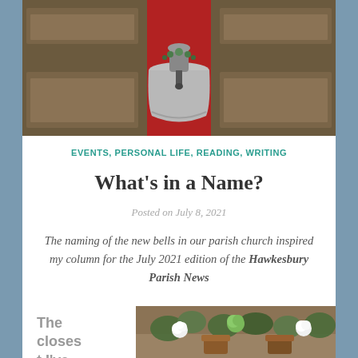[Figure (photo): Top-down view of a church bell placed on a red carpet in the aisle between dark wooden pews]
EVENTS, PERSONAL LIFE, READING, WRITING
What's in a Name?
Posted on July 8, 2021
The naming of the new bells in our parish church inspired my column for the July 2021 edition of the Hawkesbury Parish News
[Figure (photo): Flower arrangement with white roses and green chrysanthemums in a vase, viewed from above]